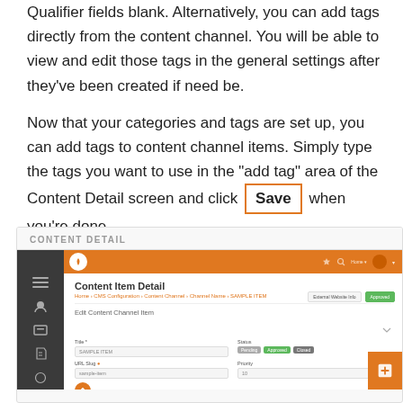Qualifier fields blank. Alternatively, you can add tags directly from the content channel. You will be able to view and edit those tags in the general settings after they've been created if need be.
Now that your categories and tags are set up, you can add tags to content channel items. Simply type the tags you want to use in the "add tag" area of the Content Detail screen and click Save when you're done.
[Figure (screenshot): Screenshot of the Content Detail screen in a CMS. Shows a dark sidebar on the left, an orange navigation bar at the top, and a form with fields for Title, URL Slug, Status (Pending/Approved/Closed), and Priority. The heading reads 'Content Item Detail'.]